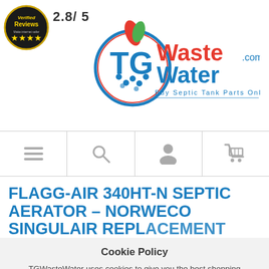[Figure (logo): Verified Reviews badge with star rating and circular seal]
2.8/ 5
[Figure (logo): TGWasteWater.com logo with blue circular emblem, red and blue text, tagline Buy Septic Tank Parts Online]
[Figure (infographic): Navigation bar with hamburger menu, search, user, and cart icons]
FLAGG-AIR 340HT-N SEPTIC AERATOR – NORWECO SINGULAIR REPLACEMENT
Cookie Policy
TGWasteWater uses cookies to give you the best shopping experience. If you continue to use our services, we will assume that you agree to the use of such cookies. Find out more about cookies and how you can refuse them.
Click here to learn about cookies
AGREE